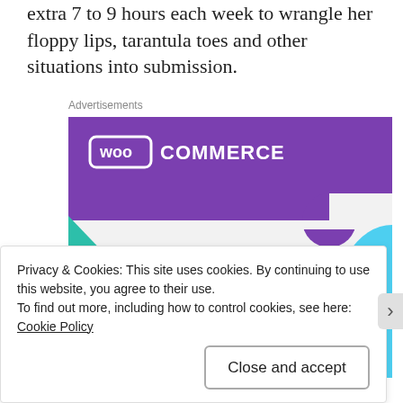extra 7 to 9 hours each week to wrangle her floppy lips, tarantula toes and other situations into submission.
Advertisements
[Figure (screenshot): WooCommerce advertisement banner showing 'How to start selling subscriptions online' with purple header, teal triangle, blue arc, and a purple call-to-action button.]
Privacy & Cookies: This site uses cookies. By continuing to use this website, you agree to their use.
To find out more, including how to control cookies, see here: Cookie Policy
Close and accept